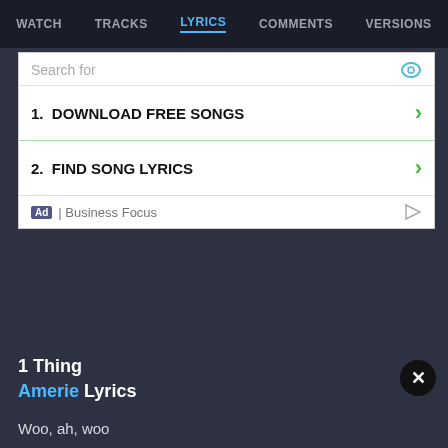WATCH  TRACKS  LYRICS  COMMENTS  VERSIONS
[Figure (screenshot): Advertisement box with search field, two links (DOWNLOAD FREE SONGS, FIND SONG LYRICS), and Business Focus footer label]
1 Thing
Amerie Lyrics
Woo, ah, woo
Na-na-na-na-na, oh (ah-ah)
Na-na-na-na-na, oh (ah-ah)
Na-na-na-na-na, oh (ah-ah)
Na-na-na-na-na
Oh, been trying to let it go
Trying to keep my eyes closed
Trying to keep it just like before
The times we never even thought to speak